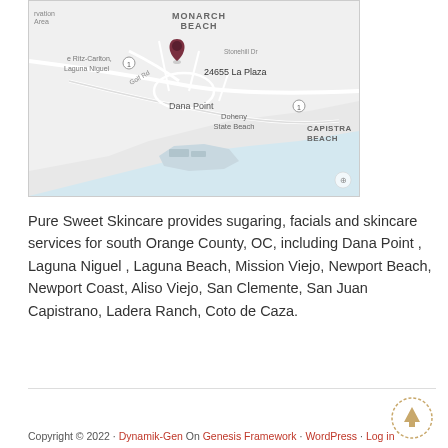[Figure (map): Google Map showing Dana Point area with a pin at 24655 La Plaza, Dana Point. Shows Monarch Beach, Ritz-Carlton Laguna Niguel, Doheny State Beach, Capistrano Beach area.]
Pure Sweet Skincare provides sugaring, facials and skincare services for south Orange County, OC, including Dana Point , Laguna Niguel , Laguna Beach, Mission Viejo, Newport Beach, Newport Coast, Aliso Viejo, San Clemente, San Juan Capistrano, Ladera Ranch, Coto de Caza.
Copyright © 2022 · Dynamik-Gen On Genesis Framework · WordPress · Log in